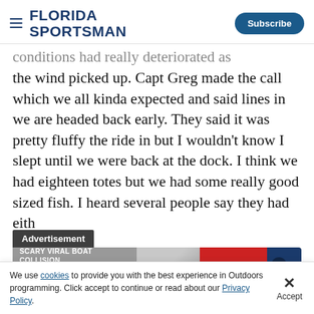FLORIDA SPORTSMAN | Subscribe
conditions had really deteriorated as the wind picked up. Capt Greg made the call which we all kinda expected and said lines in we are headed back early. They said it was pretty fluffy the ride in but I wouldn't know I slept until we were back at the dock. I think we had eighteen totes but we had some really good sized fish. I heard several people say they had eith
[Figure (screenshot): Advertisement overlay for 'Scary Viral Boat Collision Has a Harrowing Aftermath' with a LEARN MORE button, close button (X), and chevron (^) on a dark banner.]
We use cookies to provide you with the best experience in Outdoors programming. Click accept to continue or read about our Privacy Policy.